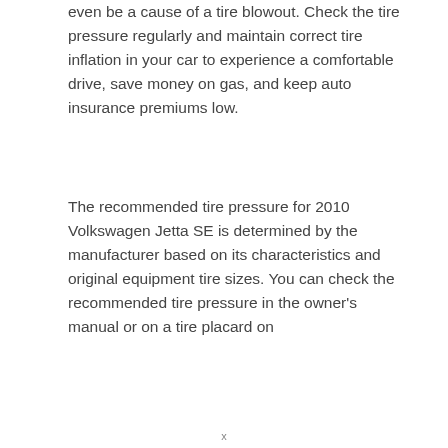even be a cause of a tire blowout. Check the tire pressure regularly and maintain correct tire inflation in your car to experience a comfortable drive, save money on gas, and keep auto insurance premiums low.
The recommended tire pressure for 2010 Volkswagen Jetta SE is determined by the manufacturer based on its characteristics and original equipment tire sizes. You can check the recommended tire pressure in the owner's manual or on a tire placard on